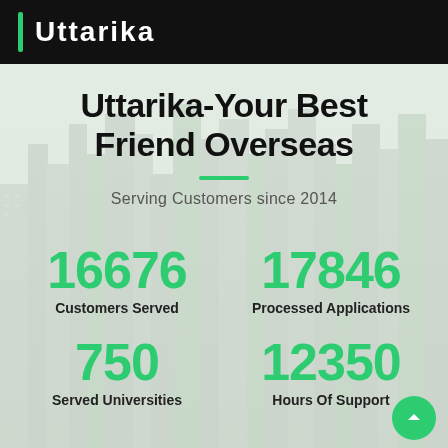Uttarika
Uttarika-Your Best Friend Overseas
Serving Customers since 2014
16676
Customers Served
17846
Processed Applications
750
Served Universities
12350
Hours Of Support